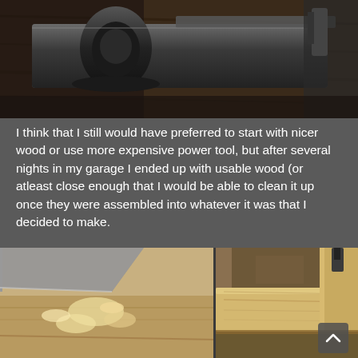[Figure (photo): Close-up photo of a hand plane woodworking tool resting on a dark wood surface, showing the knob and body of the plane from a low angle.]
I think that I still would have preferred to start with nicer wood or use more expensive power tool, but after several nights in my garage I ended up with usable wood (or atleast close enough that I would be able to clean it up once they were assembled into whatever it was that I decided to make.
[Figure (photo): Two side-by-side photos: left shows wood shavings on a workbench with a plane blade visible; right shows a close-up of assembled light-colored wooden box/frame pieces clamped together on a workbench.]